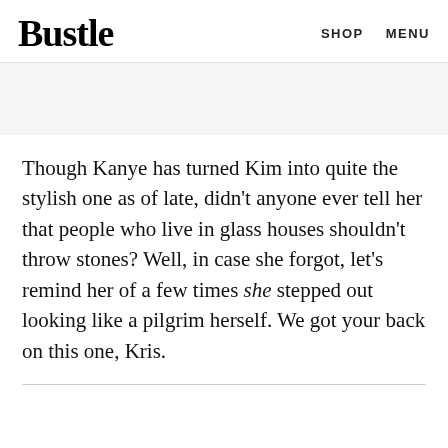Bustle   SHOP   MENU
Though Kanye has turned Kim into quite the stylish one as of late, didn't anyone ever tell her that people who live in glass houses shouldn't throw stones? Well, in case she forgot, let's remind her of a few times she stepped out looking like a pilgrim herself. We got your back on this one, Kris.